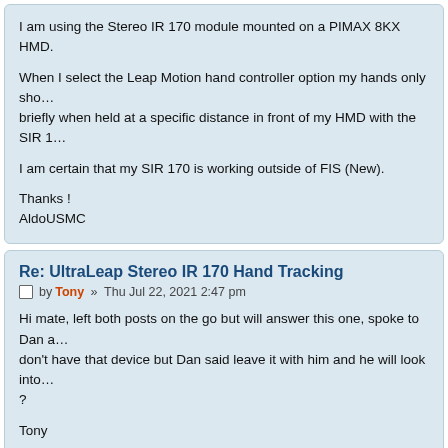I am using the Stereo IR 170 module mounted on a PIMAX 8KX HMD.

When I select the Leap Motion hand controller option my hands only show briefly when held at a specific distance in front of my HMD with the SIR 1

I am certain that my SIR 170 is working outside of FIS (New).

Thanks !
AldoUSMC
Re: UltraLeap Stereo IR 170 Hand Tracking
by Tony » Thu Jul 22, 2021 2:47 pm
Hi mate, left both posts on the go but will answer this one, spoke to Dan a don't have that device but Dan said leave it with him and he will look into ?
Tony
Tony F
Customer Support = contact tony@flyinside-fsx.com
FlyInside Inc.
Re: UltraLeap Stereo IR 170 Hand Tracking